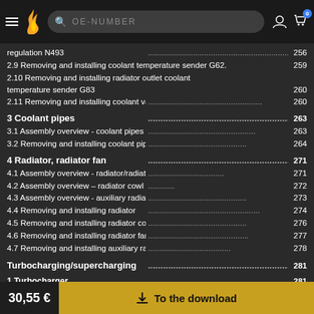OE-NUMBER navigation bar with logo and search
regulation N493 .... 256
2.9 Removing and installing coolant temperature sender G62. 259
2.10 Removing and installing radiator outlet coolant temperature sender G83 .... 260
2.11 Removing and installing coolant valves .... 260
3 Coolant pipes .... 263
3.1 Assembly overview - coolant pipes .... 263
3.2 Removing and installing coolant pipes .... 264
4 Radiator, radiator fan .... 271
4.1 Assembly overview - radiator/radiator fan .... 271
4.2 Assembly overview – radiator cowl and radiator fan .... 272
4.3 Assembly overview - auxiliary radiator .... 273
4.4 Removing and installing radiator .... 274
4.5 Removing and installing radiator cowl .... 276
4.6 Removing and installing radiator fan .... 277
4.7 Removing and installing auxiliary radiator .... 278
Turbocharging/supercharging .... 281
1 Turbocharger .... 281
1.1 Assembly overview - turbocharger .... 281
1.2 Removing and installing turbocharger .... 286
1.3 Removing and installing charge pressure control module GX34 .... 292
1.4 Removing and installing turbocharger air circulation valve .... 294
2 Charge air system .... 296
30,55 € | To the download